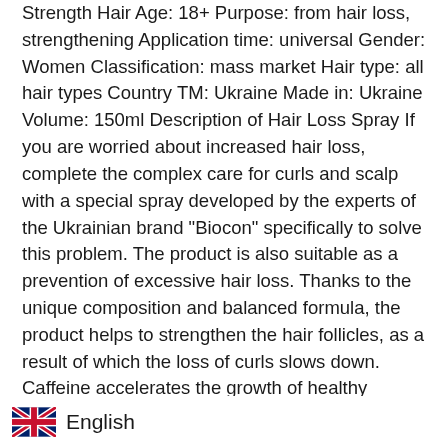Strength Hair Age: 18+ Purpose: from hair loss, strengthening Application time: universal Gender: Women Classification: mass market Hair type: all hair types Country TM: Ukraine Made in: Ukraine Volume: 150ml Description of Hair Loss Spray If you are worried about increased hair loss, complete the complex care for curls and scalp with a special spray developed by the experts of the Ukrainian brand "Biocon" specifically to solve this problem. The product is also suitable as a prevention of excessive hair loss. Thanks to the unique composition and balanced formula, the product helps to strengthen the hair follicles, as a result of which the loss of curls slows down. Caffeine accelerates the growth of healthy strands by stimulating the bulbs. Leech extract activates blood microcirculation in the epidermis of the [English] ...es to increased nutrition of the roots. Thanks to zinc pyrithione, the spray...